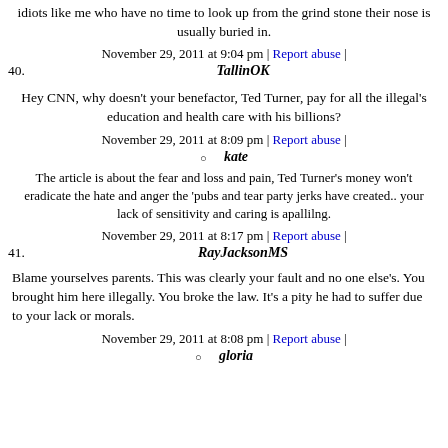idiots like me who have no time to look up from the grind stone their nose is usually buried in.
November 29, 2011 at 9:04 pm | Report abuse |
40. TallinOK
Hey CNN, why doesn't your benefactor, Ted Turner, pay for all the illegal's education and health care with his billions?
November 29, 2011 at 8:09 pm | Report abuse |
kate
The article is about the fear and loss and pain, Ted Turner's money won't eradicate the hate and anger the 'pubs and tear party jerks have created.. your lack of sensitivity and caring is apallilng.
November 29, 2011 at 8:17 pm | Report abuse |
41. RayJacksonMS
Blame yourselves parents. This was clearly your fault and no one else's. You brought him here illegally. You broke the law. It's a pity he had to suffer due to your lack or morals.
November 29, 2011 at 8:08 pm | Report abuse |
gloria